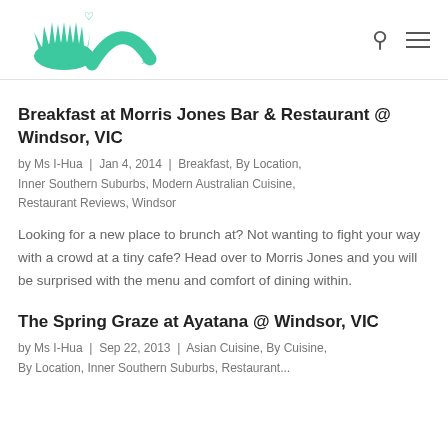[Figure (logo): Blog logo with teal illustrated characters (bushy hair figures) and a small heart, teal color]
Breakfast at Morris Jones Bar & Restaurant @ Windsor, VIC
by Ms I-Hua | Jan 4, 2014 | Breakfast, By Location, Inner Southern Suburbs, Modern Australian Cuisine, Restaurant Reviews, Windsor
Looking for a new place to brunch at? Not wanting to fight your way with a crowd at a tiny cafe? Head over to Morris Jones and you will be surprised with the menu and comfort of dining within.
The Spring Graze at Ayatana @ Windsor, VIC
by Ms I-Hua | Sep 22, 2013 | Asian Cuisine, By Cuisine, By Location, Inner Southern Suburbs, Restaurant...